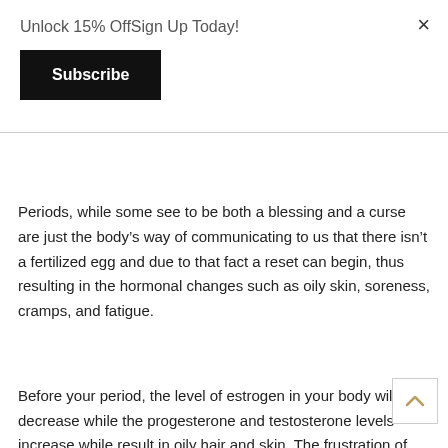Unlock 15% OffSign Up Today!
[Figure (other): Black Subscribe button]
Periods, while some see to be both a blessing and a curse are just the body’s way of communicating to us that there isn’t a fertilized egg and due to that fact a reset can begin, thus resulting in the hormonal changes such as oily skin, soreness, cramps, and fatigue.
Before your period, the level of estrogen in your body will decrease while the progesterone and testosterone levels increase while result in oily hair and skin. The frustration of oily hair and skin is